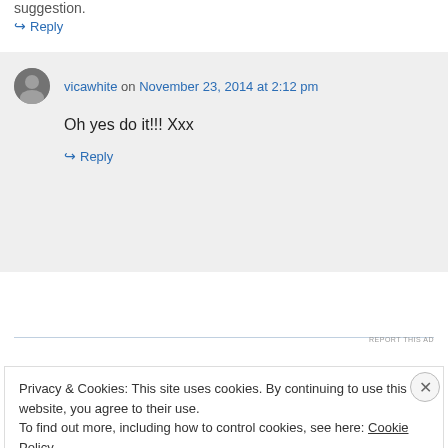suggestion.
↪ Reply
vicawhite on November 23, 2014 at 2:12 pm
Oh yes do it!!! Xxx
↪ Reply
REPORT THIS AD
Privacy & Cookies: This site uses cookies. By continuing to use this website, you agree to their use.
To find out more, including how to control cookies, see here: Cookie Policy
Close and accept